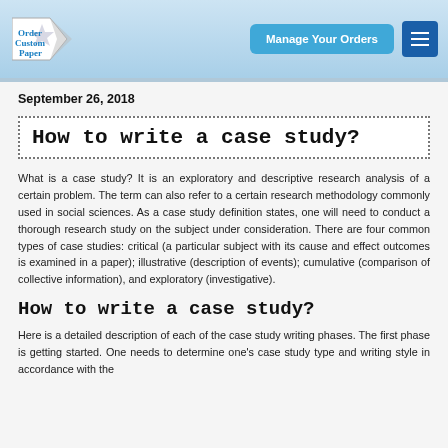[Figure (logo): Order Custom Paper logo with diamond/arrow shape and navigation bar with Manage Your Orders button and hamburger menu]
September 26, 2018
How to write a case study?
What is a case study? It is an exploratory and descriptive research analysis of a certain problem. The term can also refer to a certain research methodology commonly used in social sciences. As a case study definition states, one will need to conduct a thorough research study on the subject under consideration. There are four common types of case studies: critical (a particular subject with its cause and effect outcomes is examined in a paper); illustrative (description of events); cumulative (comparison of collective information), and exploratory (investigative).
How to write a case study?
Here is a detailed description of each of the case study writing phases. The first phase is getting started. One needs to determine one's case study type and writing style in accordance with the